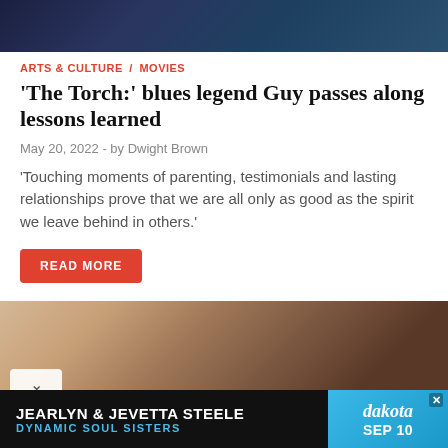[Figure (photo): Top portion of a photo showing musicians performing on stage with blue/dark lighting]
ARTS & CULTURE / MOVIES
'The Torch:' blues legend Guy passes along lessons learned
May 20, 2022  -  by Dwight Brown
'Touching moments of parenting, testimonials and lasting relationships prove that we are all only as good as the spirit we leave behind in others.'
READ MORE
[Figure (photo): Bottom portion showing a crowd of people seated, appearing to be an audience at an event]
JEARLYN & JEVETTA STEELE DYNAMIC SOUL SISTERS SEP 10